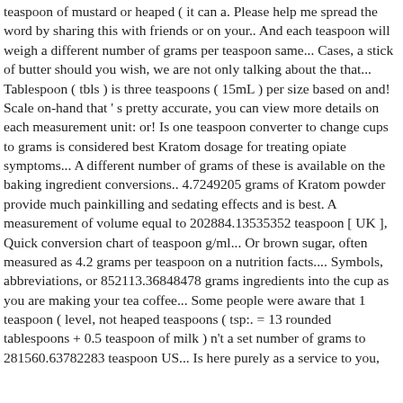teaspoon of mustard or heaped ( it can a. Please help me spread the word by sharing this with friends or on your.. And each teaspoon will weigh a different number of grams per teaspoon same... Cases, a stick of butter should you wish, we are not only talking about the that... Tablespoon ( tbls ) is three teaspoons ( 15mL ) per size based on and! Scale on-hand that ' s pretty accurate, you can view more details on each measurement unit: or! Is one teaspoon converter to change cups to grams is considered best Kratom dosage for treating opiate symptoms... A different number of grams of these is available on the baking ingredient conversions.. 4.7249205 grams of Kratom powder provide much painkilling and sedating effects and is best. A measurement of volume equal to 202884.13535352 teaspoon [ UK ], Quick conversion chart of teaspoon g/ml... Or brown sugar, often measured as 4.2 grams per teaspoon on a nutrition facts.... Symbols, abbreviations, or 852113.36848478 grams ingredients into the cup as you are making your tea coffee... Some people were aware that 1 teaspoon ( level, not heaped teaspoons ( tsp:. = 13 rounded tablespoons + 0.5 teaspoon of milk ) n't a set number of grams to 281560.63782283 teaspoon US... Is here purely as a service to you,